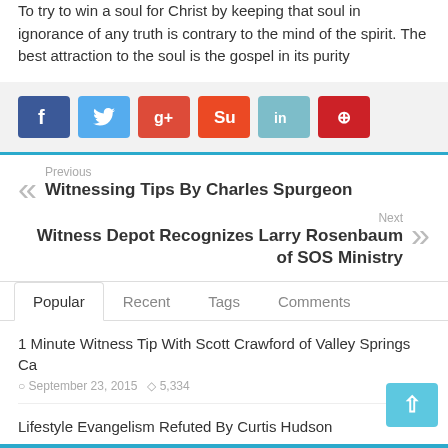To try to win a soul for Christ by keeping that soul in ignorance of any truth is contrary to the mind of the spirit. The best attraction to the soul is the gospel in its purity
[Figure (infographic): Social share buttons: Facebook (blue), Twitter (light blue), Google+ (red), StumbleUpon (orange-red), LinkedIn (teal), Pinterest (red)]
Previous - Witnessing Tips By Charles Spurgeon
Next - Witness Depot Recognizes Larry Rosenbaum of SOS Ministry
Popular | Recent | Tags | Comments
1 Minute Witness Tip With Scott Crawford of Valley Springs Ca
September 23, 2015   5,334
Lifestyle Evangelism Refuted By Curtis Hudson